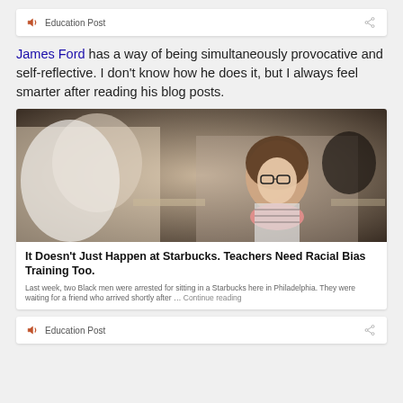Education Post
James Ford has a way of being simultaneously provocative and self-reflective. I don't know how he does it, but I always feel smarter after reading his blog posts.
[Figure (photo): Classroom scene with students sitting at desks; a young woman with glasses and a pink scarf is prominently visible in focus.]
It Doesn't Just Happen at Starbucks. Teachers Need Racial Bias Training Too.
Last week, two Black men were arrested for sitting in a Starbucks here in Philadelphia. They were waiting for a friend who arrived shortly after … Continue reading
Education Post